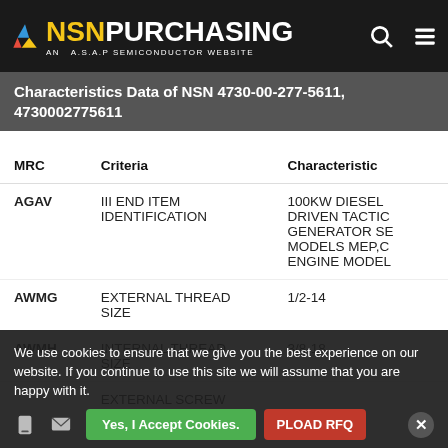NSNPURCHASING AN A.S.A.P SEMICONDUCTOR WEBSITE
Characteristics Data of NSN 4730-00-277-5611, 4730002775611
| MRC | Criteria | Characteristic |
| --- | --- | --- |
| AGAV | III END ITEM IDENTIFICATION | 100KW DIESEL DRIVEN TACTIC GENERATOR SE MODELS MEP,C ENGINE MODEL |
| AWMG | EXTERNAL THREAD SIZE | 1/2-14 |
| AWMH | INTERNAL THREAD SIZE | 3/8-18 |
|  | EXTERNAL SCREW THREAD SERIES DESIGNATOR |  |
We use cookies to ensure that we give you the best experience on our website. If you continue to use this site we will assume that you are happy with it.